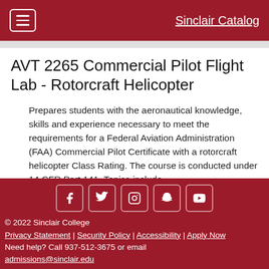Sinclair Catalog
AVT 2265 Commercial Pilot Flight Lab - Rotorcraft Helicopter
Prepares students with the aeronautical knowledge, skills and experience necessary to meet the requirements for a Federal Aviation Administration (FAA) Commercial Pilot Certificate with a rotorcraft helicopter Class Rating. The course is conducted under 14 CFR Part 141. Topics include
© 2022 Sinclair College | Privacy Statement | Security Policy | Accessibility | Apply Now | Need help? Call 937-512-3675 or email admissions@sinclair.edu